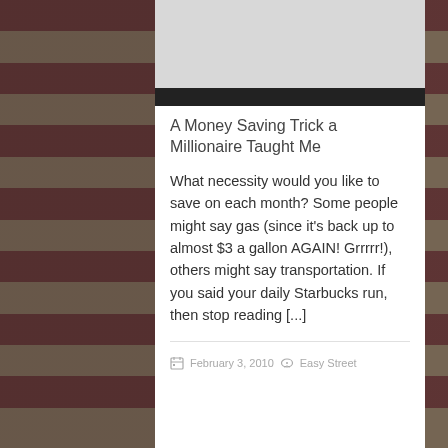A Money Saving Trick a Millionaire Taught Me
What necessity would you like to save on each month? Some people might say gas (since it's back up to almost $3 a gallon AGAIN! Grrrrr!), others might say transportation. If you said your daily Starbucks run, then stop reading [...]
February 3, 2010   Easy Street